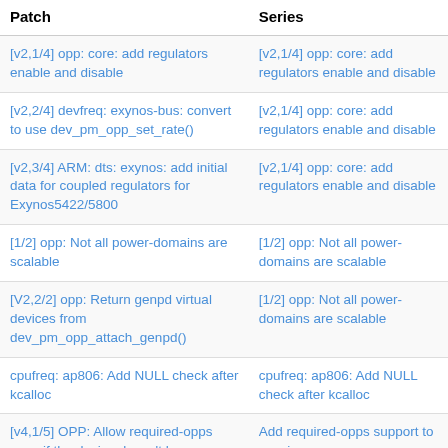| Patch | Series |
| --- | --- |
| [v2,1/4] opp: core: add regulators enable and disable | [v2,1/4] opp: core: add regulators enable and disable |
| [v2,2/4] devfreq: exynos-bus: convert to use dev_pm_opp_set_rate() | [v2,1/4] opp: core: add regulators enable and disable |
| [v2,3/4] ARM: dts: exynos: add initial data for coupled regulators for Exynos5422/5800 | [v2,1/4] opp: core: add regulators enable and disable |
| [1/2] opp: Not all power-domains are scalable | [1/2] opp: Not all power-domains are scalable |
| [V2,2/2] opp: Return genpd virtual devices from dev_pm_opp_attach_genpd() | [1/2] opp: Not all power-domains are scalable |
| cpufreq: ap806: Add NULL check after kcalloc | cpufreq: ap806: Add NULL check after kcalloc |
| [v4,1/5] OPP: Allow required-opps even if the device doesn't have power-domains | Add required-opps support to passive gov |
| [v4,2/5] OPP: Add function to look up required OPP's for a given OPP | Add required-opps support to passive gov |
| [v4,3/5] OPP: Improve required-opps linking | Add required-opps support to passive gov |
| [v4,4/5] PM / devfreq: Cache OPP table | Add required-opps support to passive gov |